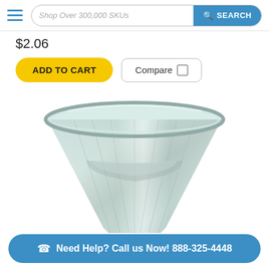Shop Over 300,000 SKUs  SEARCH
$2.06
ADD TO CART
Compare
[Figure (photo): Close-up product photo of a clear glass halogen MR16 lamp reflector bulb, viewed from above at a slight angle, showing the faceted reflector interior and glass envelope.]
Need Help? Call us Now! 888-325-4448